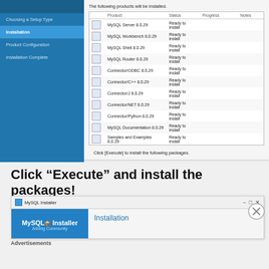[Figure (screenshot): MySQL Installer screenshot showing installation product list with sidebar navigation (Choosing a Setup Type, Installation highlighted, Product Configuration, Installation Complete) and a table of products ready to install including MySQL Server 8.0.29, MySQL Workbench 8.0.29, MySQL Shell 8.0.29, MySQL Router 8.0.29, Connector/ODBC 8.0.29, Connector/C++ 8.0.29, Connector/J 8.0.29, Connector/NET 8.0.29, Connector/Python 8.0.29, MySQL Documentation 8.0.29, Samples and Examples 8.0.29, all with status Ready to Install. Buttons: < Back, Execute, Cancel.]
Click “Execute” and install the packages!
[Figure (screenshot): MySQL Installer second screenshot showing Installation step with MySQL Installer branding on left sidebar (Adding Community) and Installation label on right.]
Advertisements